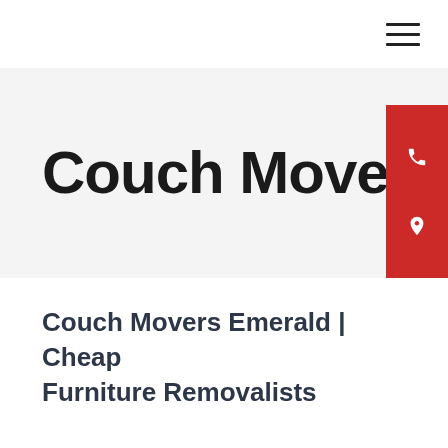[Figure (other): Hamburger/navigation menu icon with three horizontal lines in upper right corner]
Couch Movers Emerald
Couch Movers Emerald | Cheap Furniture Removalists